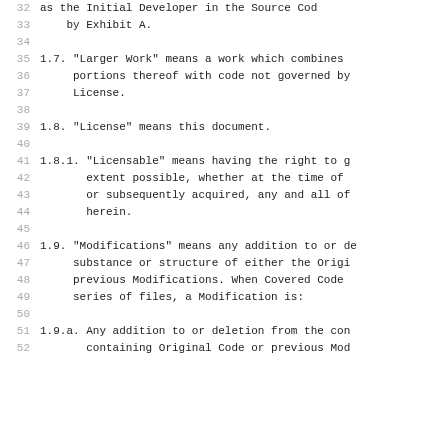32    as the Initial Developer in the Source Code
33        by Exhibit A.
35  1.7. "Larger Work" means a work which combines
36        portions thereof with code not governed by
37        License.
39  1.8. "License" means this document.
41  1.8.1. "Licensable" means having the right to g
42           extent possible, whether at the time of
43           or subsequently acquired, any and all of
44           herein.
46  1.9. "Modifications" means any addition to or d
47        substance or structure of either the Origi
48        previous Modifications. When Covered Code
49        series of files, a Modification is:
51  1.9.a. Any addition to or deletion from the co
52          containing Original Code or previous Mod